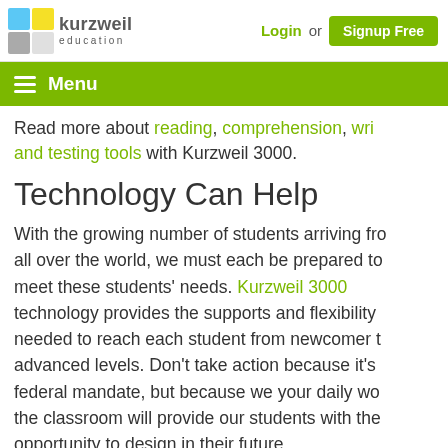[Figure (logo): Kurzweil Education logo with colorful cube and text]
Login or Signup Free
Menu
Read more about reading, comprehension, writing, and testing tools with Kurzweil 3000.
Technology Can Help
With the growing number of students arriving from all over the world, we must each be prepared to meet these students' needs. Kurzweil 3000 technology provides the supports and flexibility needed to reach each student from newcomer to advanced levels. Don't take action because it's a federal mandate, but because we your daily work in the classroom will provide our students with the opportunity to design in their future.